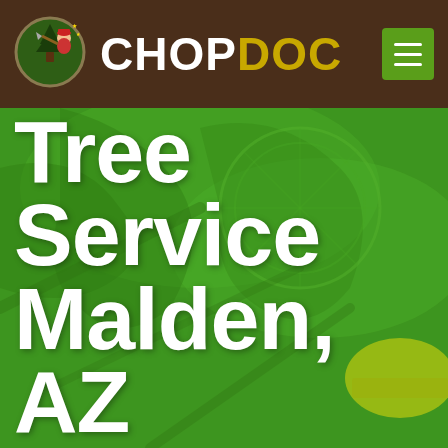[Figure (logo): ChopDoc logo: circular emblem with lumberjack figure on dark brown header bar]
CHOPDOC
[Figure (photo): Green-tinted hero background image showing tree branches and equipment with yellow hard hat visible at right]
Tree Service Malden, AZ